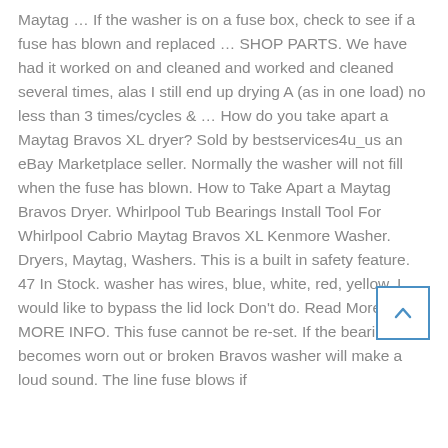Maytag … If the washer is on a fuse box, check to see if a fuse has blown and replaced … SHOP PARTS. We have had it worked on and cleaned and worked and cleaned several times, alas I still end up drying A (as in one load) no less than 3 times/cycles & … How do you take apart a Maytag Bravos XL dryer? Sold by bestservices4u_us an eBay Marketplace seller. Normally the washer will not fill when the fuse has blown. How to Take Apart a Maytag Bravos Dryer. Whirlpool Tub Bearings Install Tool For Whirlpool Cabrio Maytag Bravos XL Kenmore Washer. Dryers, Maytag, Washers. This is a built in safety feature. 47 In Stock. washer has wires, blue, white, red, yellow, I would like to bypass the lid lock Don't do. Read More-+ MORE INFO. This fuse cannot be re-set. If the bearing becomes worn out or broken Bravos washer will make a loud sound. The line fuse blows if the washer is overloaded.